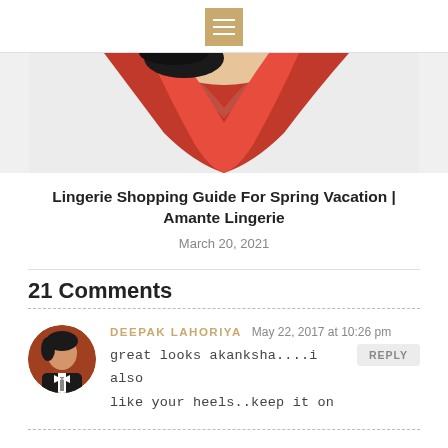Navigation menu button
[Figure (photo): Partial photo of a woman wearing a red dress/lingerie, cropped at shoulders and torso]
Lingerie Shopping Guide For Spring Vacation | Amante Lingerie
March 20, 2021
21 Comments
DEEPAK LAHORIYA   May 22, 2017 at 10:26 pm
great looks akanksha....i also like your heels..keep it on